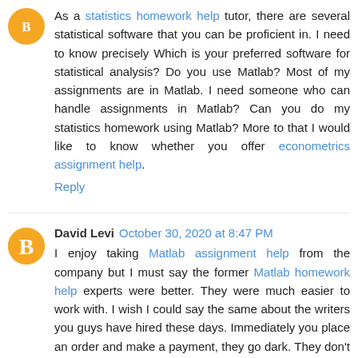As a statistics homework help tutor, there are several statistical software that you can be proficient in. I need to know precisely Which is your preferred software for statistical analysis? Do you use Matlab? Most of my assignments are in Matlab. I need someone who can handle assignments in Matlab? Can you do my statistics homework using Matlab? More to that I would like to know whether you offer econometrics assignment help.
Reply
David Levi October 30, 2020 at 8:47 PM
I enjoy taking Matlab assignment help from the company but I must say the former Matlab homework help experts were better. They were much easier to work with. I wish I could say the same about the writers you guys have hired these days. Immediately you place an order and make a payment, they go dark. They don't tell you how your task is doing or whether they are having trouble completing it. Nothing! I had a control systems assignment done the other day by one of your new experts and even though it was up